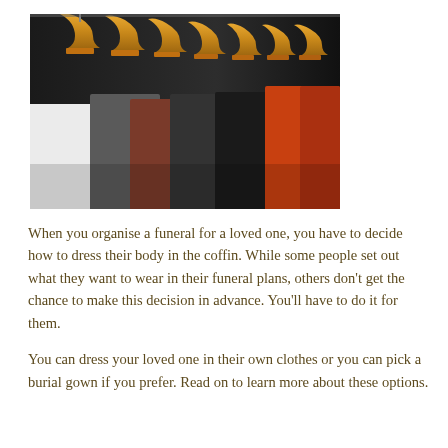[Figure (photo): Rows of clothing hanging on wooden hangers on a rack, showing white, dark, and orange garments from a side perspective.]
When you organise a funeral for a loved one, you have to decide how to dress their body in the coffin. While some people set out what they want to wear in their funeral plans, others don't get the chance to make this decision in advance. You'll have to do it for them.
You can dress your loved one in their own clothes or you can pick a burial gown if you prefer. Read on to learn more about these options.